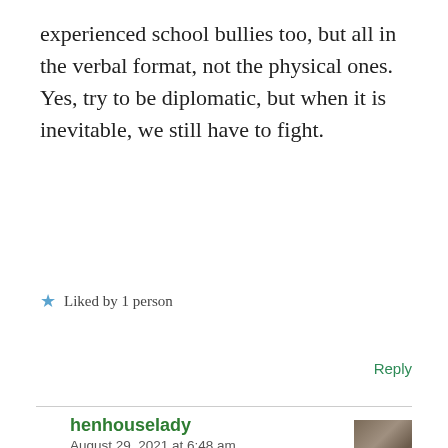experienced school bullies too, but all in the verbal format, not the physical ones. Yes, try to be diplomatic, but when it is inevitable, we still have to fight.
★ Liked by 1 person
Reply
henhouselady
August 29, 2021 at 6:48 am
Thank you.
★ Like
Reply